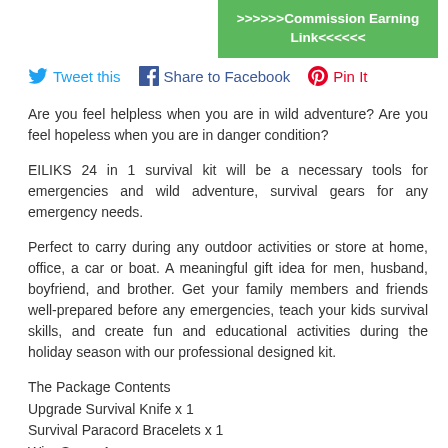[Figure (other): Green button with text '>>>>>>Commission Earning Link<<<<<<']
Tweet this   Share to Facebook   Pin It
Are you feel helpless when you are in wild adventure? Are you feel hopeless when you are in danger condition?
EILIKS 24 in 1 survival kit will be a necessary tools for emergencies and wild adventure, survival gears for any emergency needs.
Perfect to carry during any outdoor activities or store at home, office, a car or boat. A meaningful gift idea for men, husband, boyfriend, and brother. Get your family members and friends well-prepared before any emergencies, teach your kids survival skills, and create fun and educational activities during the holiday season with our professional designed kit.
The Package Contents
Upgrade Survival Knife x 1
Survival Paracord Bracelets x 1
Wire Saw x 1
Water Bottle Clip x 1
Emergency Bblanket x 1
Flint Stone x 1
Scraper x 1
Blow fire tube x 1
Fire Tinder x 4
Flashlight x 1
Whistle x 1